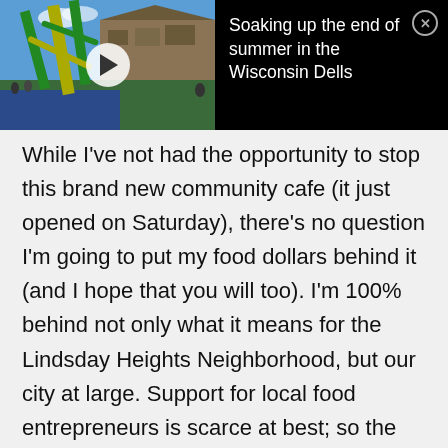[Figure (screenshot): Video thumbnail showing a water park with water slides and a large building in the background. A white play button is overlaid on the image.]
Soaking up the end of summer in the Wisconsin Dells
While I've not had the opportunity to stop this brand new community cafe (it just opened on Saturday), there's no question I'm going to put my food dollars behind it (and I hope that you will too). I'm 100% behind not only what it means for the Lindsday Heights Neighborhood, but our city at large. Support for local food entrepreneurs is scarce at best; so the notion of creating a low-cost venue where folks can grow their dreams is a huge deal.